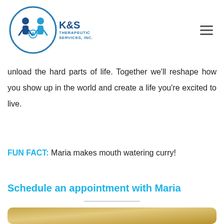K&S Therapeutic Services, Inc. logo and navigation
unload the hard parts of life. Together we'll reshape how you show up in the world and create a life you're excited to live.
FUN FACT: Maria makes mouth watering curry!
Schedule an appointment with Maria